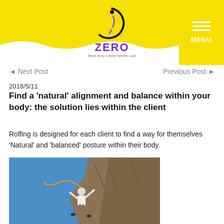ZERO MIND BODY BODYWORK LAB
◄ Next Post   Previous Post ►
2018/5/11
Find a 'natural' alignment and balance within your body: the solution lies within the client
Rolfing is designed for each client to find a way for themselves 'Natural' and 'balanced' posture within their body.
[Figure (photo): Person rock climbing on a steep rocky cliff face against a bright blue sky]